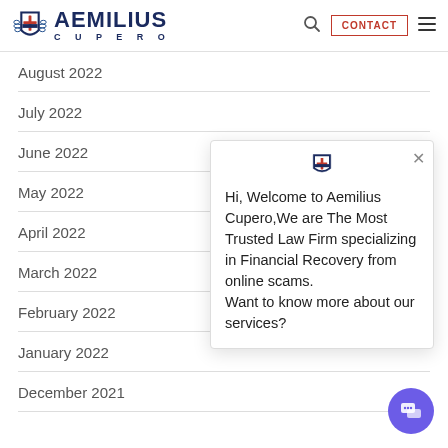AEMILIUS CUPERO — Navigation header with logo, search, contact, and menu
August 2022
July 2022
June 2022
May 2022
April 2022
March 2022
February 2022
January 2022
December 2021
Hi, Welcome to Aemilius Cupero,We are The Most Trusted Law Firm specializing in Financial Recovery from online scams. Want to know more about our services?